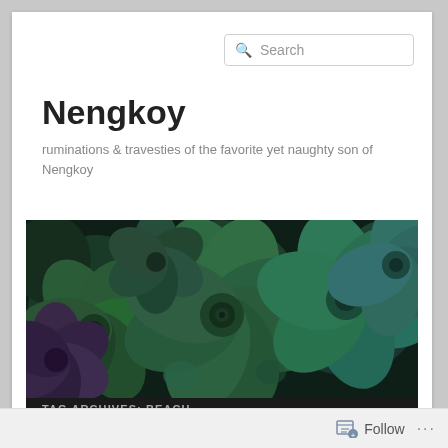Search
Nengkoy
ruminations & travesties of the favorite yet naughty son of Nengkoy
[Figure (photo): Close-up photo of succulent plants with dark green and teal rosette leaves filling the frame, with a navigation bar below showing links: travel, food, art, music, nengkoy]
TAG ARCHIVES: BEACH